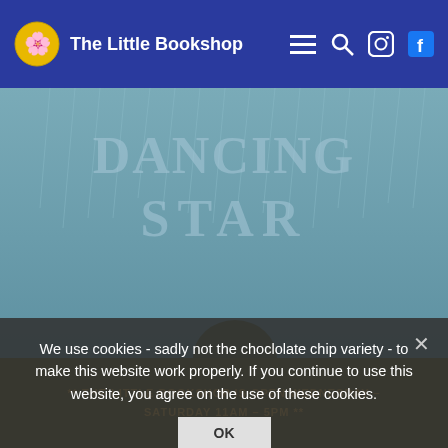The Little Bookshop
[Figure (illustration): Book cover showing a cloaked figure from behind against a blue-grey rain background with text 'DANCING STAR' and author name 'Emma Carroll' in red letters]
We use cookies - sadly not the choclolate chip variety - to make this website work properly. If you continue to use this website, you agree on the use of these cookies.
OK
** THE LITTLE BOOKSHOP IS OPEN WEDNESDAY - SATURDAY 11am - 5pm **